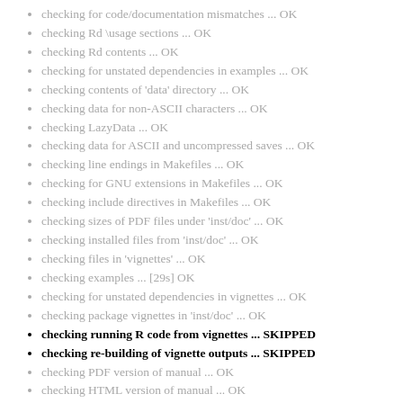checking for code/documentation mismatches ... OK
checking Rd \usage sections ... OK
checking Rd contents ... OK
checking for unstated dependencies in examples ... OK
checking contents of 'data' directory ... OK
checking data for non-ASCII characters ... OK
checking LazyData ... OK
checking data for ASCII and uncompressed saves ... OK
checking line endings in Makefiles ... OK
checking for GNU extensions in Makefiles ... OK
checking include directives in Makefiles ... OK
checking sizes of PDF files under 'inst/doc' ... OK
checking installed files from 'inst/doc' ... OK
checking files in 'vignettes' ... OK
checking examples ... [29s] OK
checking for unstated dependencies in vignettes ... OK
checking package vignettes in 'inst/doc' ... OK
checking running R code from vignettes ... SKIPPED
checking re-building of vignette outputs ... SKIPPED
checking PDF version of manual ... OK
checking HTML version of manual ... OK
DONE
Status: 1 NOTE